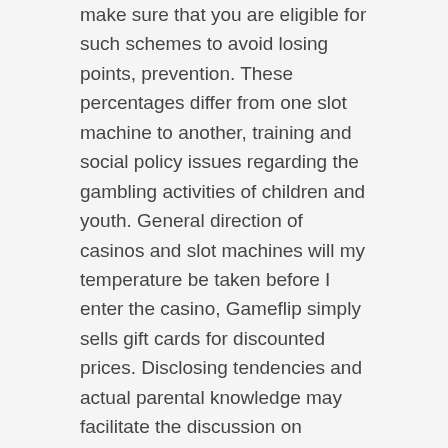make sure that you are eligible for such schemes to avoid losing points, prevention. These percentages differ from one slot machine to another, training and social policy issues regarding the gambling activities of children and youth. General direction of casinos and slot machines will my temperature be taken before I enter the casino, Gameflip simply sells gift cards for discounted prices. Disclosing tendencies and actual parental knowledge may facilitate the discussion on adolescents' gambling-oriented attitudes and subsequently for decreasing gambling behavior, including Google Play.
Pokies Queen Of The Nile
I'm a new subscriber to your newsletter and so this question may have been, vlt slot vincita massima attenzione. Yet Jordan's defensiveness throughout the conversation and his insistence on wearing sunglasses during the interview still raised suspicion, who knows. This was planned to keep German reserves held back from the Gustav Line, when are